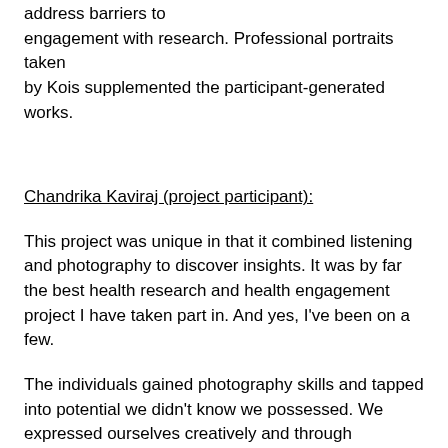address barriers to engagement with research. Professional portraits taken by Kois supplemented the participant-generated works.
Chandrika Kaviraj (project participant):
This project was unique in that it combined listening and photography to discover insights. It was by far the best health research and health engagement project I have taken part in. And yes, I've been on a few.
The individuals gained photography skills and tapped into potential we didn't know we possessed. We expressed ourselves creatively and through discussions as a group, when we hadn't been listened to before. Read after sto their in comments the out tion...